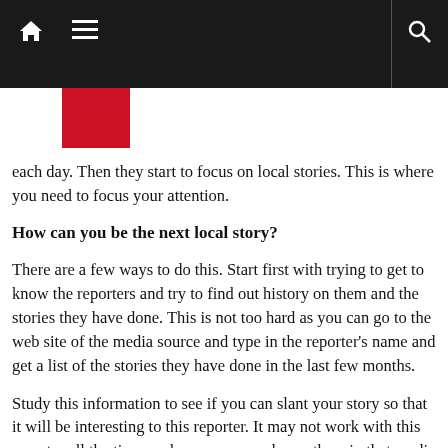[Figure (screenshot): Dark navigation bar with home icon, hamburger menu icon, a red square logo, vertical divider, and search icon]
each day. Then they start to focus on local stories. This is where you need to focus your attention.
How can you be the next local story?
There are a few ways to do this. Start first with trying to get to know the reporters and try to find out history on them and the stories they have done. This is not too hard as you can go to the web site of the media source and type in the reporter's name and get a list of the stories they have done in the last few months.
Study this information to see if you can slant your story so that it will be interesting to this reporter. It may not work with this reporter all the time so do some research on others in that media outlet. Find two or three you can try to work with, research what they like to write about and make a little file on them.
You should always try to find the reporter that deals with stories that